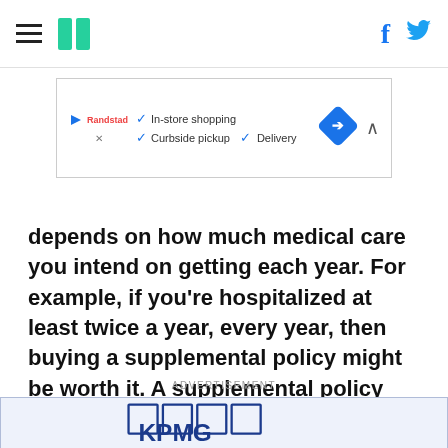HuffPost navigation bar with hamburger menu, logo, Facebook and Twitter icons
[Figure (screenshot): Advertisement banner with in-store shopping, curbside pickup, delivery checkmarks and a navigation arrow diamond icon]
depends on how much medical care you intend on getting each year. For example, if you're hospitalized at least twice a year, every year, then buying a supplemental policy might be worth it. A supplemental policy would also be a good deal if you get:
ADVERTISEMENT
[Figure (logo): KPMG logo advertisement on light blue background]